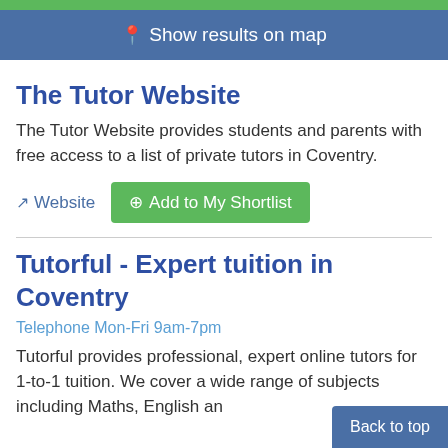Show results on map
The Tutor Website
The Tutor Website provides students and parents with free access to a list of private tutors in Coventry.
Website  |  Add to My Shortlist
Tutorful - Expert tuition in Coventry
Telephone Mon-Fri 9am-7pm
Tutorful provides professional, expert online tutors for 1-to-1 tuition. We cover a wide range of subjects including Maths, English an
Back to top